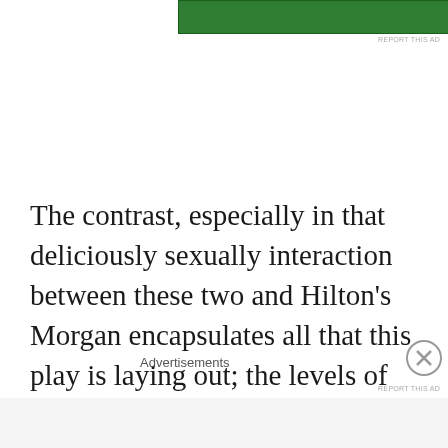[Figure (other): Green advertisement banner at top of page]
REPORT THIS AD
The contrast, especially in that deliciously sexually interaction between these two and Hilton's Morgan encapsulates all that this play is laying out; the levels of advancement and the traps we all can fall into. With Lopez replacing umbrellas with Strand Bookshop bags, the introduction of Adam McDowall, forcible portrayed by the breathtakingly good Samuel H
Advertisements
REPORT THIS AD